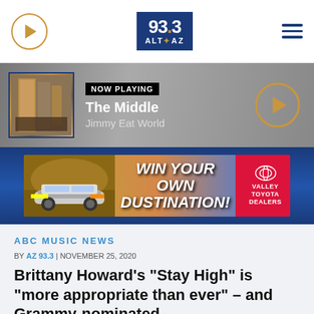[Figure (screenshot): 93.3 ALTYAZ radio station website header with logo, play button, and hamburger menu]
[Figure (screenshot): Now Playing bar showing album art, NOW PLAYING label, song The Middle by Jimmy Eat World, and circular play button]
[Figure (screenshot): Advertisement banner: WIN YOUR OWN DUSTINATION! with Valley Toyota Dealers logo and car image]
ABC MUSIC NEWS
BY AZ 93.3 | NOVEMBER 25, 2020
Brittany Howard's "Stay High" is "more appropriate than ever" – and Grammy-nominated